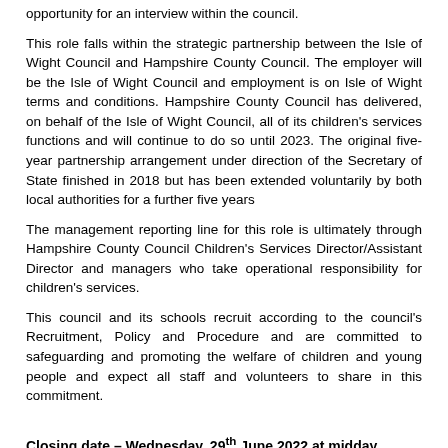opportunity for an interview within the council.
This role falls within the strategic partnership between the Isle of Wight Council and Hampshire County Council. The employer will be the Isle of Wight Council and employment is on Isle of Wight terms and conditions. Hampshire County Council has delivered, on behalf of the Isle of Wight Council, all of its children's services functions and will continue to do so until 2023. The original five-year partnership arrangement under direction of the Secretary of State finished in 2018 but has been extended voluntarily by both local authorities for a further five years
The management reporting line for this role is ultimately through Hampshire County Council Children's Services Director/Assistant Director and managers who take operational responsibility for children's services.
This council and its schools recruit according to the council's Recruitment, Policy and Procedure and are committed to safeguarding and promoting the welfare of children and young people and expect all staff and volunteers to share in this commitment.
Closing date – Wednesday, 29th June 2022 at midday